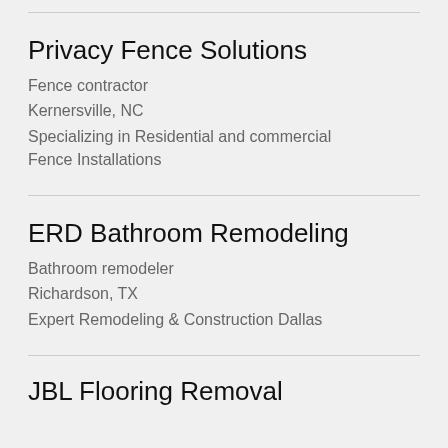Privacy Fence Solutions
Fence contractor
Kernersville, NC
Specializing in Residential and commercial Fence Installations
ERD Bathroom Remodeling
Bathroom remodeler
Richardson, TX
Expert Remodeling & Construction Dallas
JBL Flooring Removal